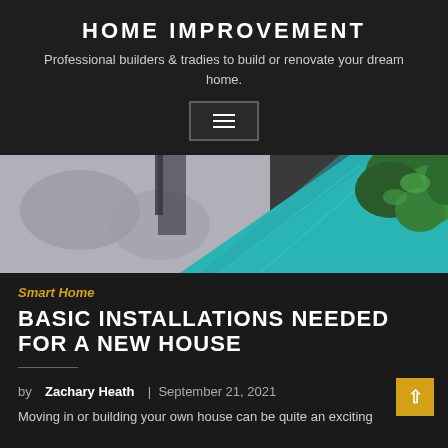HOME IMPROVEMENT
Professional builders & tradies to build or renovate your dream home.
[Figure (other): Hamburger menu button icon with three horizontal lines inside a bordered rectangle]
[Figure (photo): Aerial photo of a swimming pool with teal water, stone paving, and green foliage in the upper right corner]
Smart Home
BASIC INSTALLATIONS NEEDED FOR A NEW HOUSE
by Zachary Heath | September 21, 2021
Moving in or building your own house can be quite an exciting